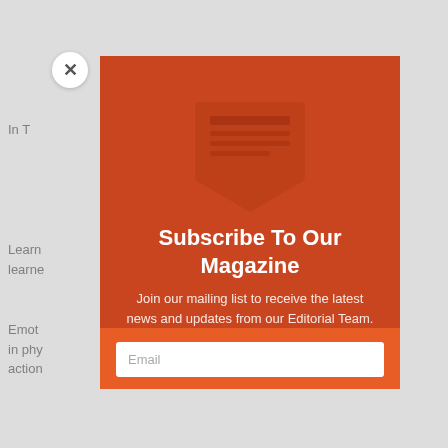In T...
Learn... be learned...
Emot... results in phy... action...
Psych... respo... ability... and i...
Our e... contr... e of a ...
[Figure (illustration): Modal popup with envelope icon, subscribe form on orange/red background]
Subscribe To Our Magazine
Join our mailing list to receive the latest news and updates from our Editorial Team.
Email